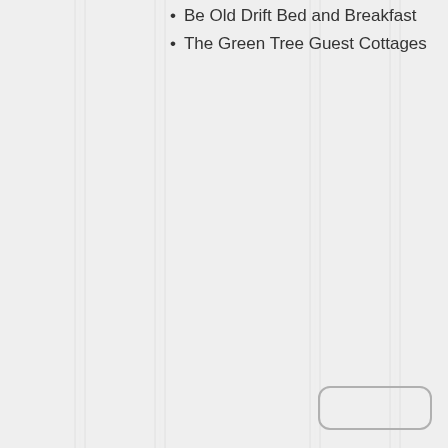Be Old Drift Bed and Breakfast
The Green Tree Guest Cottages